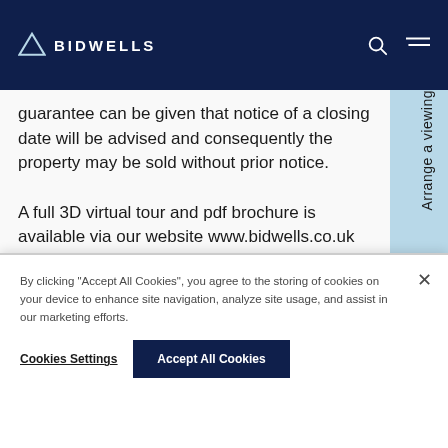BIDWELLS
guarantee can be given that notice of a closing date will be advised and consequently the property may be sold without prior notice.

A full 3D virtual tour and pdf brochure is available via our website www.bidwells.co.uk
Arrange a viewing
By clicking "Accept All Cookies", you agree to the storing of cookies on your device to enhance site navigation, analyze site usage, and assist in our marketing efforts.
Cookies Settings
Accept All Cookies